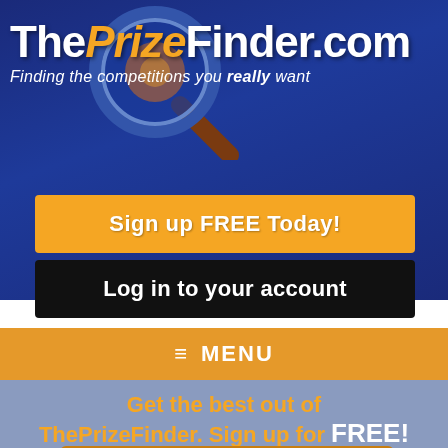[Figure (logo): ThePrizeFinder.com logo with magnifying glass, white and orange text on dark blue background. Tagline: Finding the competitions you really want]
Sign up FREE Today!
Log in to your account
≡ MENU
Get the best out of ThePrizeFinder. Sign up for FREE!
Sign up FREE Today!
Got an account already? Log in